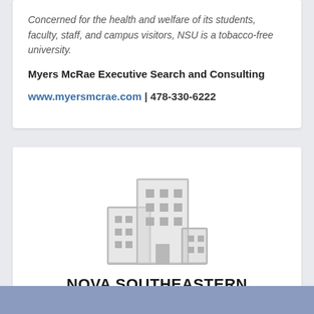Concerned for the health and welfare of its students, faculty, staff, and campus visitors, NSU is a tobacco-free university.
Myers McRae Executive Search and Consulting
www.myersmcrae.com | 478-330-6222
[Figure (illustration): Gray building/university campus icon illustration]
NOVA SOUTHEASTERN UNIVERSITY
Fort Lauderdale , FL
https://www.nova.edu/index.html